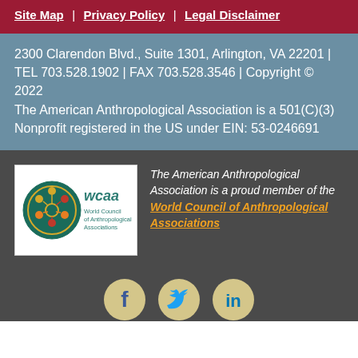Site Map | Privacy Policy | Legal Disclaimer
2300 Clarendon Blvd., Suite 1301, Arlington, VA 22201 | TEL 703.528.1902 | FAX 703.528.3546 | Copyright © 2022
The American Anthropological Association is a 501(C)(3) Nonprofit registered in the US under EIN: 53-0246691
[Figure (logo): WCAA World Council of Anthropological Associations logo — circular green emblem with figures and colored dots]
The American Anthropological Association is a proud member of the World Council of Anthropological Associations
[Figure (illustration): Social media icons: Facebook, Twitter, LinkedIn in tan/beige circles on dark background]